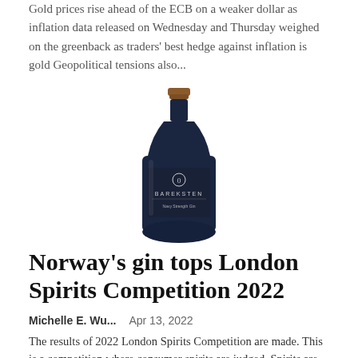Gold prices rise ahead of the ECB on a weaker dollar as inflation data released on Wednesday and Thursday weighed on the greenback as traders' best hedge against inflation is gold Geopolitical tensions also...
[Figure (photo): A dark navy/black gin bottle with a copper cap, labeled BAREKSTEN Navy Strength Gin]
Norway's gin tops London Spirits Competition 2022
Michelle E. Wu...    Apr 13, 2022
The results of 2022 London Spirits Competition are made. This is a competition where consumer spirits are judged. Spirits are judged on three main criteria: quality, value and packaging. To be a